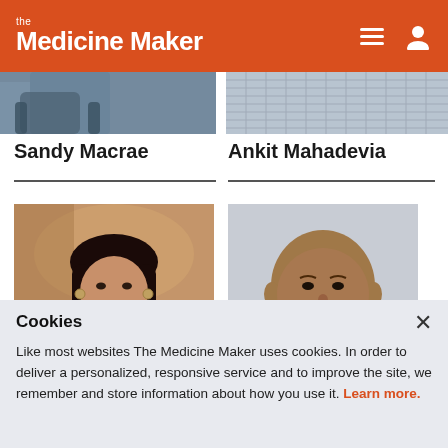the Medicine Maker
[Figure (photo): Partial photo strip of Sandy Macrae, showing blue background/chair]
[Figure (photo): Partial photo strip of Ankit Mahadevia, showing checkered shirt]
Sandy Macrae
Ankit Mahadevia
[Figure (photo): Portrait photo of a woman in a red jacket, smiling, with colorful artwork background - likely Kiran Mazumdar-Shaw]
[Figure (photo): Portrait photo of a bald man in a light blue/purple checkered shirt, smiling - Ankit Mahadevia]
Cookies
Like most websites The Medicine Maker uses cookies. In order to deliver a personalized, responsive service and to improve the site, we remember and store information about how you use it. Learn more.